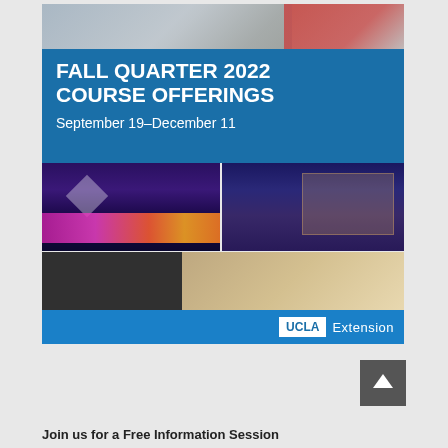[Figure (illustration): UCLA Extension Fall Quarter 2022 Course Offerings brochure cover. Top strip shows hands and map. Blue band with title 'FALL QUARTER 2022 COURSE OFFERINGS' and subtitle 'September 19–December 11'. Middle strip shows nighttime city street photos. Bottom strip shows classroom scene with instructor and students. Blue footer with UCLA Extension logo.]
[Figure (other): Dark grey square button with white upward-pointing arrow]
Join us for a Free Information Session